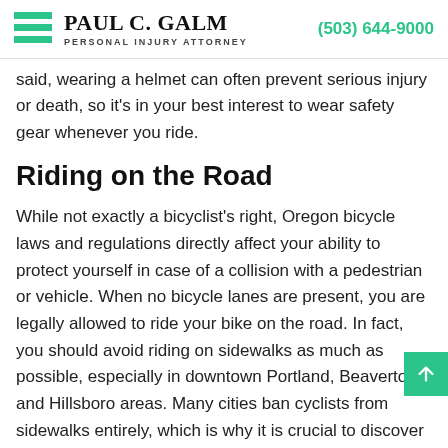PAUL C. GALM PERSONAL INJURY ATTORNEY (503) 644-9000
said, wearing a helmet can often prevent serious injury or death, so it's in your best interest to wear safety gear whenever you ride.
Riding on the Road
While not exactly a bicyclist's right, Oregon bicycle laws and regulations directly affect your ability to protect yourself in case of a collision with a pedestrian or vehicle. When no bicycle lanes are present, you are legally allowed to ride your bike on the road. In fact, you should avoid riding on sidewalks as much as possible, especially in downtown Portland, Beaverton and Hillsboro areas. Many cities ban cyclists from sidewalks entirely, which is why it is crucial to discover which ones have restrictions in place. Not knowing